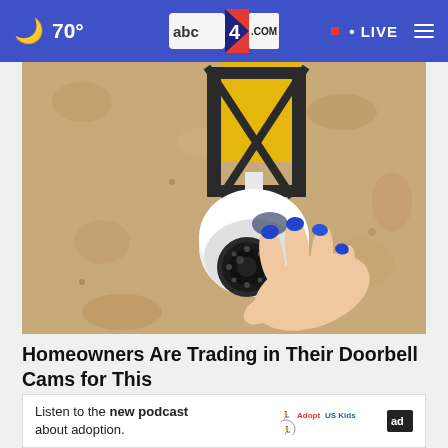🌙 70° • abc4.COM • LIVE ☰
[Figure (photo): A hand with blue painted nails holding a white dome security camera mounted under a black metal bracket on a textured beige stucco wall]
Homeowners Are Trading in Their Doorbell Cams for This
keilini
[Figure (other): Advertisement banner: Listen to the new podcast about adoption. Adopt US Kids logo and ad logos.]